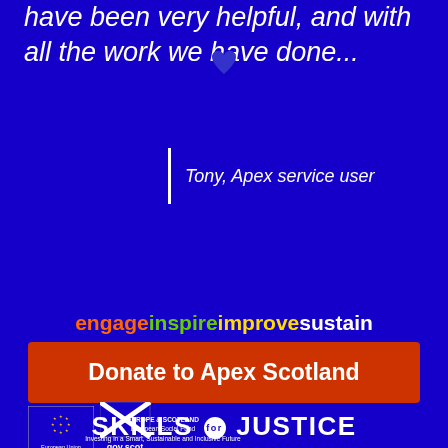have been very helpful, and with all the work we have done...
Tony, Apex service user
engage inspire improve sustain
Donate to Apex Scotland
[Figure (logo): European Union star circle logo with 'European Union' text below]
[Figure (logo): gov.scot logo with Scottish saltire flag]
EUROPE & SCOTLAND European Social Fund Investing in a Smart, Sustainable and Inclusive Future
SKILLS for JUSTICE